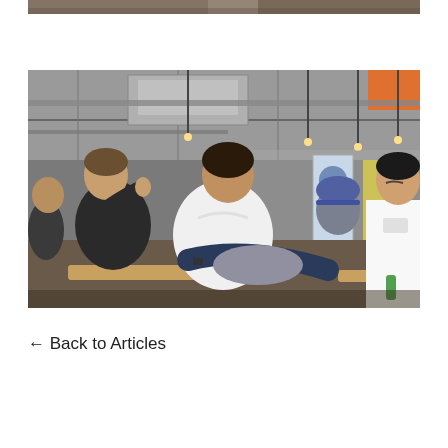[Figure (photo): Partial photo cropped at top of page showing people, cut off at bottom edge of frame.]
[Figure (photo): Indoor event photo showing several people seated in a modern industrial-style space with exposed ceiling pipes and lighting. A man in a dark shirt gestures while speaking; a man in a white t-shirt sits next to him looking upward; other attendees are visible in the background including a person in a blue cap and a man in a white chef's coat on the right. A banner/roll-up stand is visible in the background.]
← Back to Articles